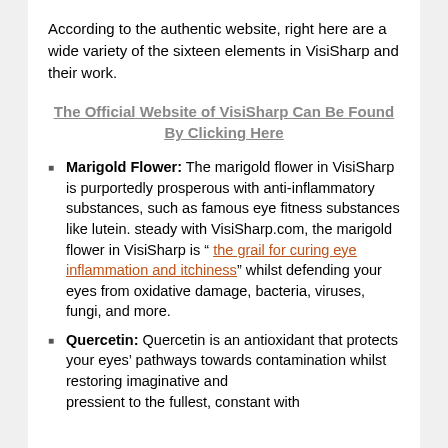According to the authentic website, right here are a wide variety of the sixteen elements in VisiSharp and their work.
The Official Website of VisiSharp Can Be Found By Clicking Here
Marigold Flower: The marigold flower in VisiSharp is purportedly prosperous with anti-inflammatory substances, such as famous eye fitness substances like lutein. steady with VisiSharp.com, the marigold flower in VisiSharp is “ the grail for curing eye inflammation and itchiness” whilst defending your eyes from oxidative damage, bacteria, viruses, fungi, and more.
Quercetin: Quercetin is an antioxidant that protects your eyes’ pathways towards contamination whilst restoring imaginative and pressient to the fullest, constant with